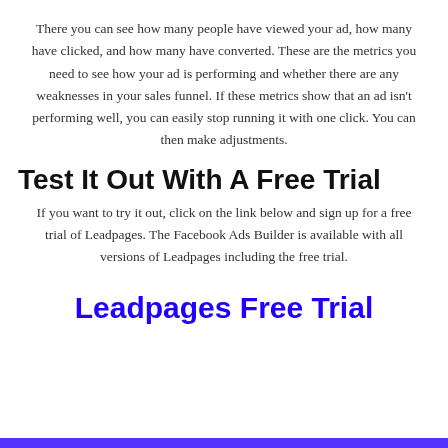There you can see how many people have viewed your ad, how many have clicked, and how many have converted. These are the metrics you need to see how your ad is performing and whether there are any weaknesses in your sales funnel. If these metrics show that an ad isn't performing well, you can easily stop running it with one click. You can then make adjustments.
Test It Out With A Free Trial
If you want to try it out, click on the link below and sign up for a free trial of Leadpages. The Facebook Ads Builder is available with all versions of Leadpages including the free trial.
Leadpages Free Trial